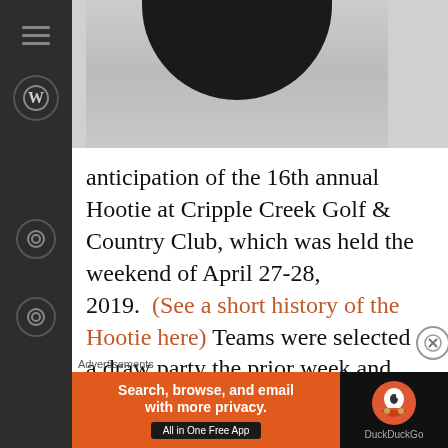[Figure (photo): Partial view of a dark-colored hat or object on a light surface, cropped at top]
anticipation of the 16th annual Hootie at Cripple Creek Golf & Country Club, which was held the weekend of April 27-28, 2019.  (See a short history of the Hootie here) Teams were selected at a draw party the prior week and each consisted of an “A” and “B” player competing in a four ball stroke play
Advertisements
[Figure (other): DuckDuckGo advertisement banner: 'Search, browse, and email with more privacy. All in One Free App' with DuckDuckGo logo]